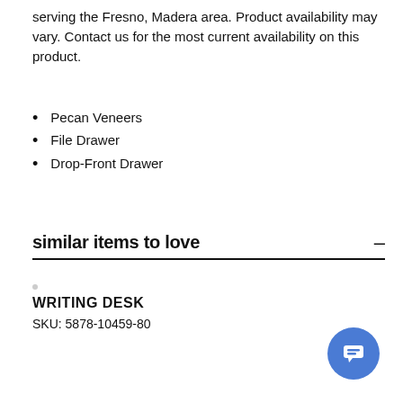serving the Fresno, Madera area. Product availability may vary. Contact us for the most current availability on this product.
Pecan Veneers
File Drawer
Drop-Front Drawer
similar items to love
WRITING DESK
SKU: 5878-10459-80
[Figure (other): Blue circular chat button with message icon]